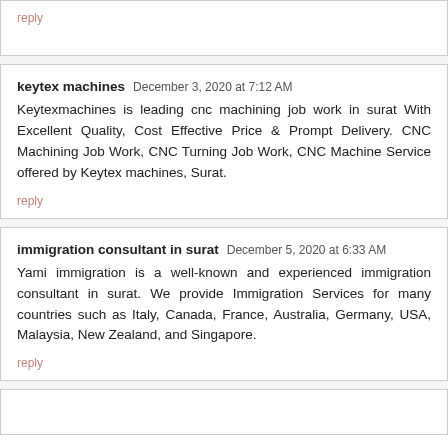reply
keytex machines  December 3, 2020 at 7:12 AM
Keytexmachines is leading cnc machining job work in surat With Excellent Quality, Cost Effective Price & Prompt Delivery. CNC Machining Job Work, CNC Turning Job Work, CNC Machine Service offered by Keytex machines, Surat.
reply
immigration consultant in surat  December 5, 2020 at 6:33 AM
Yami immigration is a well-known and experienced immigration consultant in surat. We provide Immigration Services for many countries such as Italy, Canada, France, Australia, Germany, USA, Malaysia, New Zealand, and Singapore.
reply